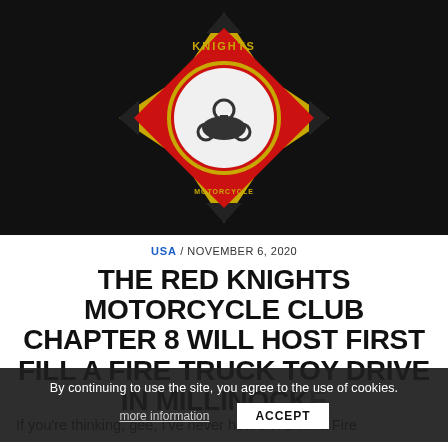[Figure (photo): Red Knights Motorcycle Club emblem/patch — a Maltese cross shape in red with black and gold border trim, featuring a motorcyclist in the center circle and 'KNIGHTS' text at top, on a black background.]
USA / NOVEMBER 6, 2020
THE RED KNIGHTS MOTORCYCLE CLUB CHAPTER 8 WILL HOST FIRST FILL A FIRE TRUCK TOY DRIVE IN MILLINOCKET E
By continuing to use the site, you agree to the use of cookies.
more information   ACCEPT
If you're thinking, gee, I've never heard of a Fill a Fire